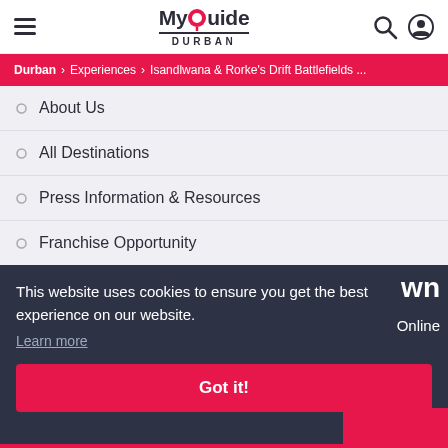MyGuide DURBAN
Durban > Experiences > Isandlwana & Rorke's Drift Battlefields ...
About Us
All Destinations
Press Information & Resources
Franchise Opportunity
This website uses cookies to ensure you get the best experience on our website.
Learn more
Got it!